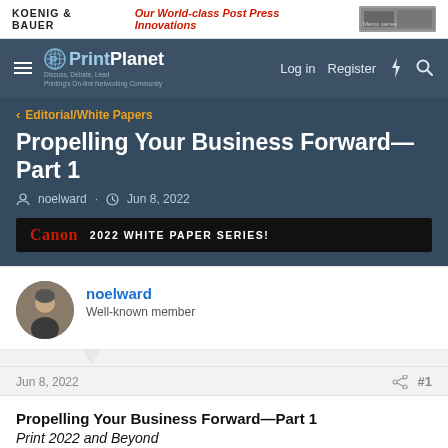[Figure (screenshot): Koenig & Bauer advertisement banner with red italic tagline 'Our World-class Post Press Innovations' and machine image on right]
[Figure (screenshot): PrintPlanet navigation bar with hamburger menu, logo, Log in, Register, lightning and search icons]
Editorial/White Papers
Propelling Your Business Forward—Part 1
noelward · Jun 8, 2022
[Figure (screenshot): Canon 2022 White Paper Series black banner ad]
noelward
Well-known member
Jun 8, 2022
#1
Propelling Your Business Forward—Part 1
Print 2022 and Beyond
By Noel Ward, Editor@Large